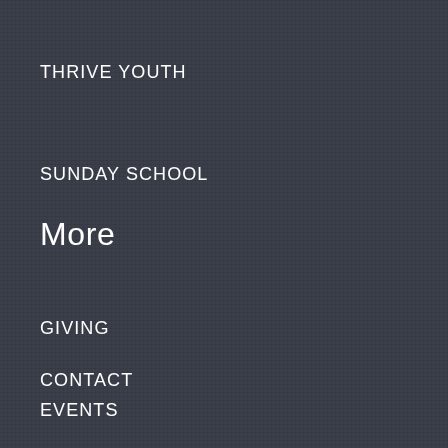THRIVE YOUTH
SUNDAY SCHOOL
More
GIVING
CONTACT
EVENTS